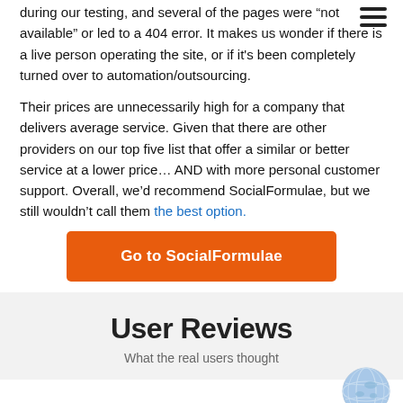during our testing, and several of the pages were “not available” or led to a 404 error. It makes us wonder if there is a live person operating the site, or if it's been completely turned over to automation/outsourcing.
Their prices are unnecessarily high for a company that delivers average service. Given that there are other providers on our top five list that offer a similar or better service at a lower price… AND with more personal customer support. Overall, we’d recommend SocialFormulae, but we still wouldn’t call them the best option.
Go to SocialFormulae
User Reviews
What the real users thought